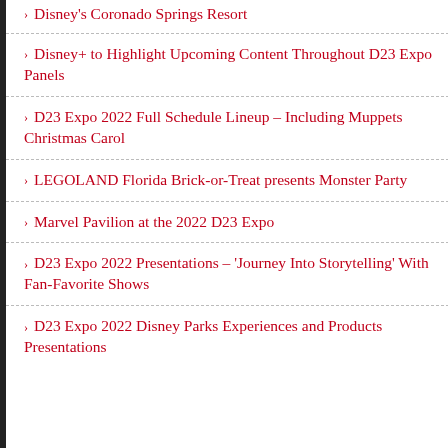Disney's Coronado Springs Resort
Disney+ to Highlight Upcoming Content Throughout D23 Expo Panels
D23 Expo 2022 Full Schedule Lineup – Including Muppets Christmas Carol
LEGOLAND Florida Brick-or-Treat presents Monster Party
Marvel Pavilion at the 2022 D23 Expo
D23 Expo 2022 Presentations – 'Journey Into Storytelling' With Fan-Favorite Shows
D23 Expo 2022 Disney Parks Experiences and Products Presentations